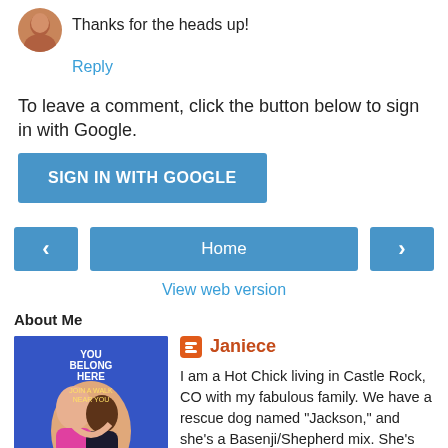Thanks for the heads up!
Reply
To leave a comment, click the button below to sign in with Google.
SIGN IN WITH GOOGLE
[Figure (other): Navigation buttons: left arrow, Home, right arrow]
View web version
About Me
[Figure (illustration): Book/poster illustration: YOU BELONG HERE JOIN A WALK NEAR YOU, showing two women hugging on a blue background]
Janiece
I am a Hot Chick living in Castle Rock, CO with my fabulous family. We have a rescue dog named "Jackson," and she's a Basenji/Shepherd mix. She's something of a head case, but we love her. I'm a U.S. Navy vet, and I currently work as an Enterprise Solutions Architect, specializing in VoIP and multimedia contact center design. I am